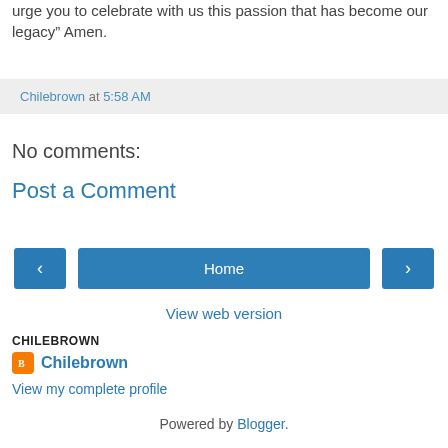urge you to celebrate with us this passion that has become our legacy” Amen.
Chilebrown at 5:58 AM
No comments:
Post a Comment
Home
View web version
CHILEBROWN
Chilebrown
View my complete profile
Powered by Blogger.